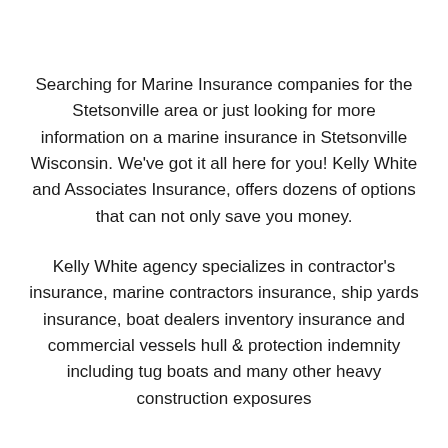Searching for Marine Insurance companies for the Stetsonville area or just looking for more information on a marine insurance in Stetsonville Wisconsin. We've got it all here for you! Kelly White and Associates Insurance, offers dozens of options that can not only save you money.
Kelly White agency specializes in contractor's insurance, marine contractors insurance, ship yards insurance, boat dealers inventory insurance and commercial vessels hull & protection indemnity including tug boats and many other heavy construction exposures